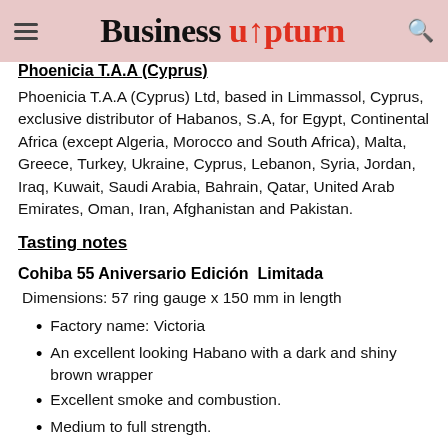Business upturn
Phoenicia T.A.A (Cyprus)
Phoenicia T.A.A (Cyprus) Ltd, based in Limmassol, Cyprus, exclusive distributor of Habanos, S.A, for Egypt, Continental Africa (except Algeria, Morocco and South Africa), Malta, Greece, Turkey, Ukraine, Cyprus, Lebanon, Syria, Jordan, Iraq, Kuwait, Saudi Arabia, Bahrain, Qatar, United Arab Emirates, Oman, Iran, Afghanistan and Pakistan.
Tasting notes
Cohiba 55 Aniversario Edición  Limitada
Dimensions: 57 ring gauge x 150 mm in length
Factory name: Victoria
An excellent looking Habano with a dark and shiny brown wrapper
Excellent smoke and combustion.
Medium to full strength.